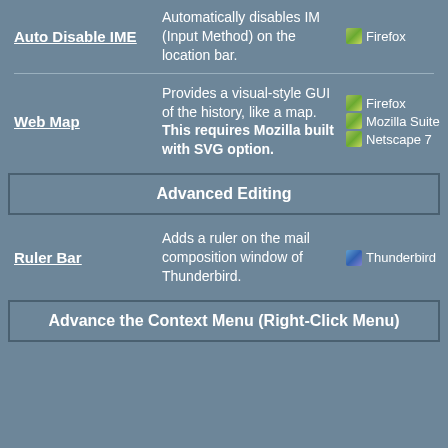| Feature | Description | Compatible With |
| --- | --- | --- |
| Auto Disable IME | Automatically disables IM (Input Method) on the location bar. | Firefox |
| Web Map | Provides a visual-style GUI of the history, like a map. This requires Mozilla built with SVG option. | Firefox, Mozilla Suite, Netscape 7 |
Advanced Editing
| Feature | Description | Compatible With |
| --- | --- | --- |
| Ruler Bar | Adds a ruler on the mail composition window of Thunderbird. | Thunderbird |
Advance the Context Menu (Right-Click Menu)